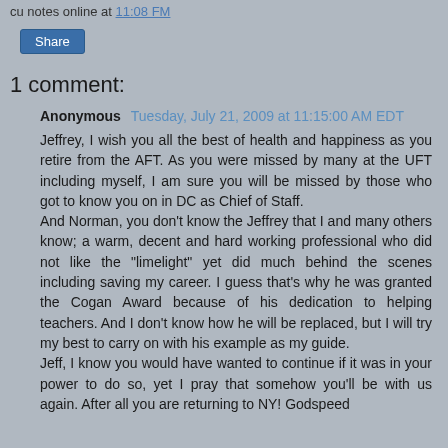cu notes online at 11:08 FM
[Figure (screenshot): Share button, blue rounded rectangle]
1 comment:
Anonymous Tuesday, July 21, 2009 at 11:15:00 AM EDT
Jeffrey, I wish you all the best of health and happiness as you retire from the AFT. As you were missed by many at the UFT including myself, I am sure you will be missed by those who got to know you on in DC as Chief of Staff.
And Norman, you don't know the Jeffrey that I and many others know; a warm, decent and hard working professional who did not like the "limelight" yet did much behind the scenes including saving my career. I guess that's why he was granted the Cogan Award because of his dedication to helping teachers. And I don't know how he will be replaced, but I will try my best to carry on with his example as my guide.
Jeff, I know you would have wanted to continue if it was in your power to do so, yet I pray that somehow you'll be with us again. After all you are returning to NY! Godspeed